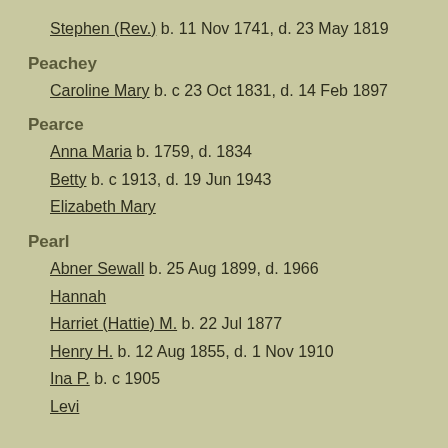Stephen (Rev.)  b. 11 Nov 1741, d. 23 May 1819
Peachey
Caroline Mary  b. c 23 Oct 1831, d. 14 Feb 1897
Pearce
Anna Maria  b. 1759, d. 1834
Betty  b. c 1913, d. 19 Jun 1943
Elizabeth Mary
Pearl
Abner Sewall  b. 25 Aug 1899, d. 1966
Hannah
Harriet (Hattie) M.  b. 22 Jul 1877
Henry H.  b. 12 Aug 1855, d. 1 Nov 1910
Ina P.  b. c 1905
Levi